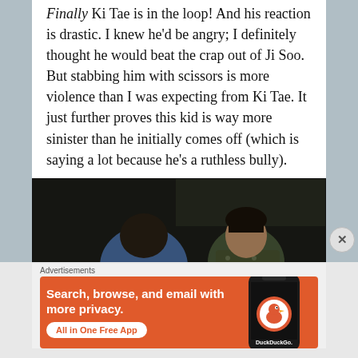Finally Ki Tae is in the loop! And his reaction is drastic. I knew he'd be angry; I definitely thought he would beat the crap out of Ji Soo. But stabbing him with scissors is more violence than I was expecting from Ki Tae. It just further proves this kid is way more sinister than he initially comes off (which is saying a lot because he's a ruthless bully).
[Figure (photo): Dark scene showing two young men, one facing away in a blue shirt and one facing the viewer wearing a patterned top, in a dimly lit room.]
Advertisements
[Figure (screenshot): DuckDuckGo advertisement banner with orange background. Text: Search, browse, and email with more privacy. All in One Free App. Shows a phone with DuckDuckGo logo.]